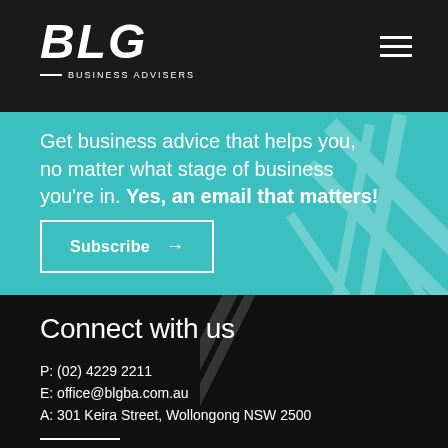BLG BUSINESS ADVISERS
Get business advice that helps you, no matter what stage of business you're in. Yes, an email that matters!
[Figure (infographic): Subscribe button with right arrow, teal background with decorative diagonal line pattern]
Connect with us
P: (02) 4229 2211
E: office@blgba.com.au
A: 301 Keira Street, Wollongong NSW 2500